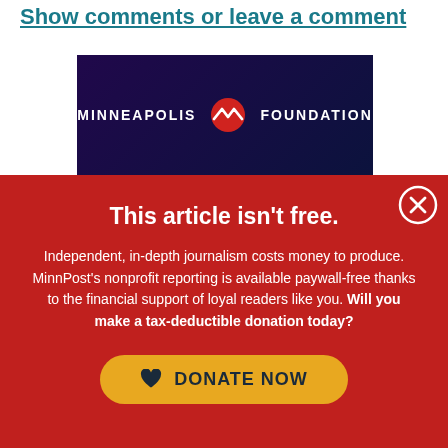Show comments or leave a comment
[Figure (logo): Minneapolis Foundation logo — white text on dark navy background with red circular emblem showing a wave/mountain symbol]
This article isn't free.
Independent, in-depth journalism costs money to produce. MinnPost's nonprofit reporting is available paywall-free thanks to the financial support of loyal readers like you. Will you make a tax-deductible donation today?
DONATE NOW